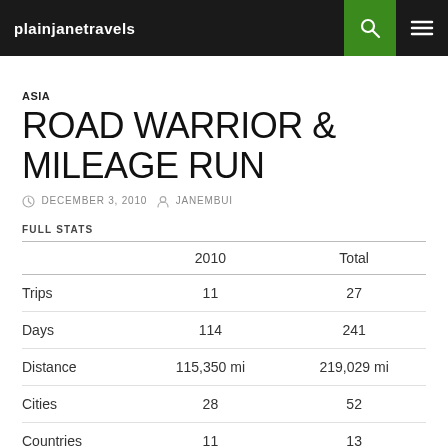plainjanetravels
ASIA
ROAD WARRIOR & MILEAGE RUN
DECEMBER 3, 2010  JANEMBUI
|  | 2010 | Total |
| --- | --- | --- |
| Trips | 11 | 27 |
| Days | 114 | 241 |
| Distance | 115,350 mi | 219,029 mi |
| Cities | 28 | 52 |
| Countries | 11 | 13 |